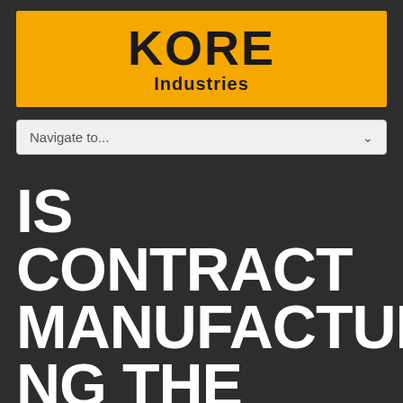[Figure (logo): KORE Industries logo — bold black text on yellow/amber background rectangle]
Navigate to...
IS CONTRACT MANUFACTURING THE WAY TO GO IN 2020?